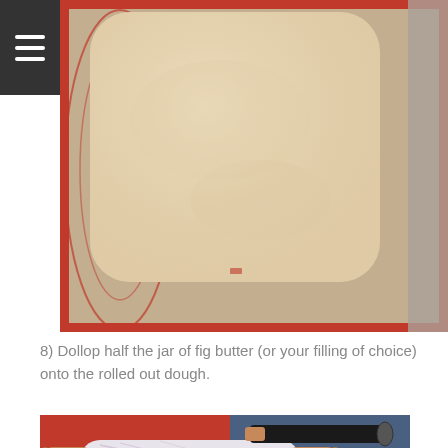[Figure (photo): Rolled out dough on a silicone baking mat with red border markings, placed on a granite countertop. The dough is pale/cream colored and roughly rectangular with rounded corners.]
8) Dollop half the jar of fig butter (or your filling of choice) onto the rolled out dough.
[Figure (photo): A marble rolling pin with wooden handles and a pastry/pizza cutter tool with a black handle, placed on a red surface or mat.]